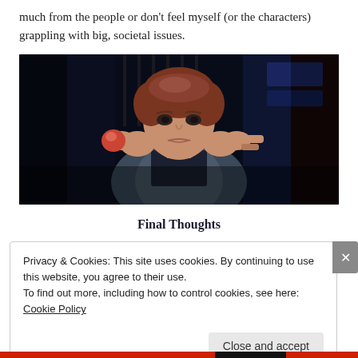much from the people or don't feel myself (or the characters) grappling with big, societal issues.
[Figure (photo): Young man with reddish-brown hair pointing both hands toward camera against a dark background, film still]
Final Thoughts
Privacy & Cookies: This site uses cookies. By continuing to use this website, you agree to their use.
To find out more, including how to control cookies, see here: Cookie Policy
Close and accept